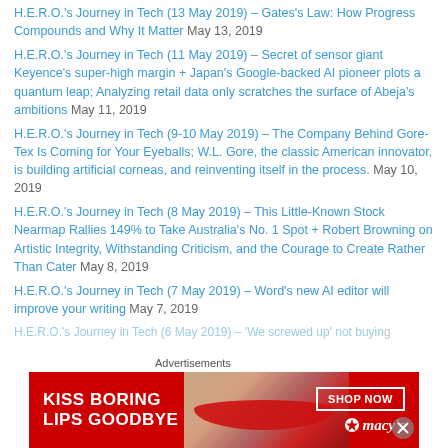H.E.R.O.'s Journey in Tech (13 May 2019) – Gates's Law: How Progress Compounds and Why It Matter May 13, 2019
H.E.R.O.'s Journey in Tech (11 May 2019) – Secret of sensor giant Keyence's super-high margin + Japan's Google-backed AI pioneer plots a quantum leap; Analyzing retail data only scratches the surface of Abeja's ambitions May 11, 2019
H.E.R.O.'s Journey in Tech (9-10 May 2019) – The Company Behind Gore-Tex Is Coming for Your Eyeballs; W.L. Gore, the classic American innovator, is building artificial corneas, and reinventing itself in the process. May 10, 2019
H.E.R.O.'s Journey in Tech (8 May 2019) – This Little-Known Stock Nearmap Rallies 149% to Take Australia's No. 1 Spot + Robert Browning on Artistic Integrity, Withstanding Criticism, and the Courage to Create Rather Than Cater May 8, 2019
H.E.R.O.'s Journey in Tech (7 May 2019) – Word's new AI editor will improve your writing May 7, 2019
H.E.R.O.'s Journey in Tech (6 May 2019) – 'We screwed up' not buying…
Advertisements
[Figure (photo): Macy's advertisement banner with red background showing 'KISS BORING LIPS GOODBYE' text with a woman's lips image and SHOP NOW button with Macy's star logo]